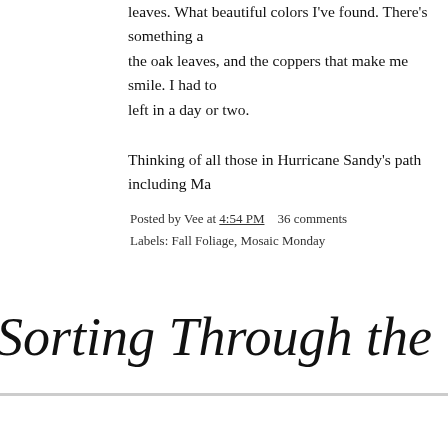leaves. What beautiful colors I've found. There's something about the oak leaves, and the coppers that make me smile. I had to left in a day or two.
Thinking of all those in Hurricane Sandy's path including Ma
Posted by Vee at 4:54 PM    36 comments
Labels: Fall Foliage, Mosaic Monday
Sorting Through the Things on
If My people
who are called by My name
will humble themselves,
and PRAY
and seek My face,